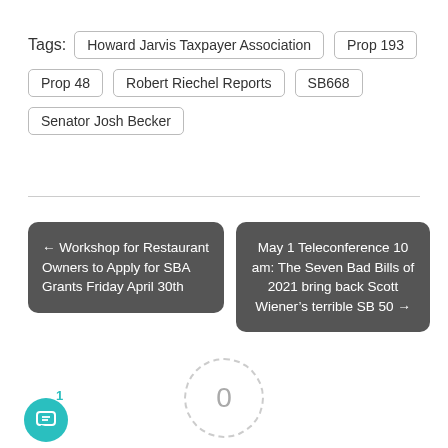Tags: Howard Jarvis Taxpayer Association | Prop 193 | Prop 48 | Robert Riechel Reports | SB668 | Senator Josh Becker
← Workshop for Restaurant Owners to Apply for SBA Grants Friday April 30th
May 1 Teleconference 10 am: The Seven Bad Bills of 2021 bring back Scott Wiener's terrible SB 50 →
[Figure (other): Article rating widget showing 0 rating with dashed circle, dashes on sides, 'Article Rating' label, and 5 empty star icons below]
1
[Figure (other): Teal circular comment button with chat icon]